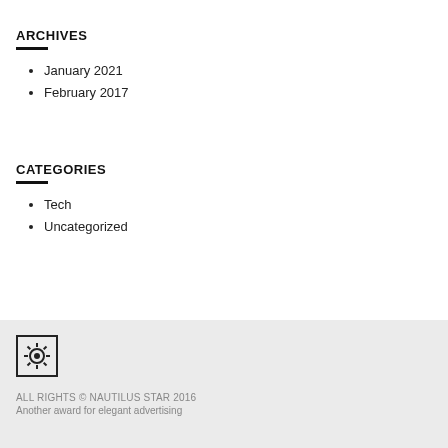ARCHIVES
January 2021
February 2017
CATEGORIES
Tech
Uncategorized
[Figure (logo): Nautilus Star logo: a square border with a gear/sun icon in the center]
ALL RIGHTS © NAUTILUS STAR 2016
Another award for elegant advertising